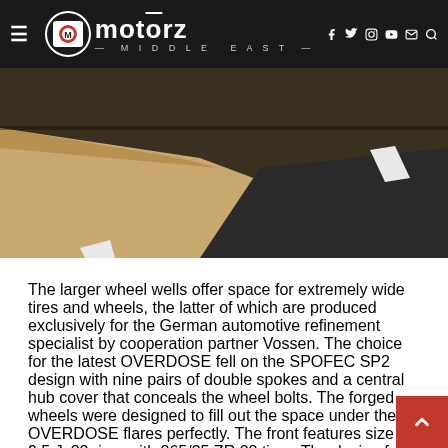motorz middle east
[Figure (photo): Road photo showing asphalt/tarmac on the right and sand dunes on the left, with white road markings visible]
The larger wheel wells offer space for extremely wide tires and wheels, the latter of which are produced exclusively for the German automotive refinement specialist by cooperation partner Vossen. The choice for the latest OVERDOSE fell on the SPOFEC SP2 design with nine pairs of double spokes and a central hub cover that conceals the wheel bolts. The forged wheels were designed to fill out the space under the OVERDOSE flares perfectly. The front features size 9.5 Jx22 rims with 265/35 ZR 22 tires. The design for the even wider flares at the rear axle is even more extreme: Vossen gave the size 10.5 Jx22 rims a concave wheel center, while SPOFEC chose tires of size 295/30 ZR 22 for these rims.